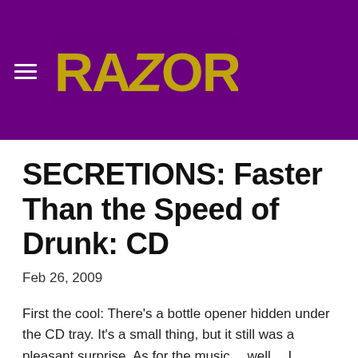RAZORCAKE
SECRETIONS: Faster Than the Speed of Drunk: CD
Feb 26, 2009
First the cool: There’s a bottle opener hidden under the CD tray. It's a small thing, but it still was a pleasant surprise. As for the music… well… I dunno. This is my first exposure to the Secretions, but based on the Ramones core of most of the songs I doubt if most of